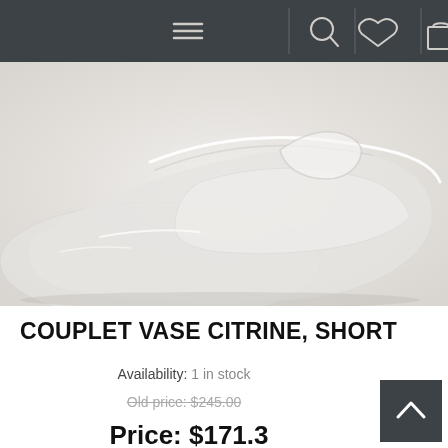[Figure (screenshot): Website navigation bar with menu (hamburger), search, wishlist (heart), cart (bag), and more (...) icons on dark gray background]
[Figure (photo): Close-up product photo of a clear glass Couplet Vase Citrine Short on a light gray/white background]
COUPLET VASE CITRINE, SHORT
Availability: 1 in stock
Old price: $245.00
Price: $171.30